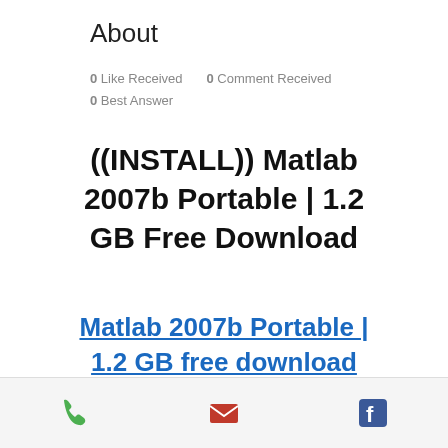About
0 Like Received   0 Comment Received
0 Best Answer
((INSTALL)) Matlab 2007b Portable | 1.2 GB Free Download
Matlab 2007b Portable | 1.2 GB free download
[Figure (other): Bottom navigation bar with phone, email, and Facebook icons]